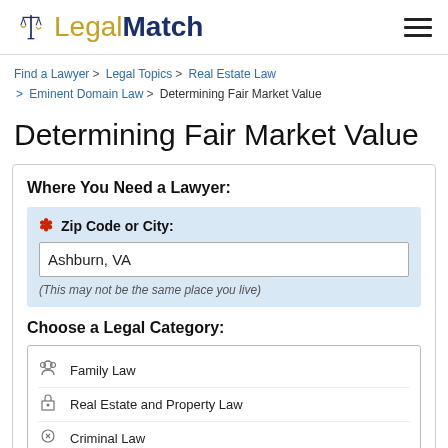[Figure (logo): LegalMatch logo with scales of justice icon and text 'LegalMatch']
Find a Lawyer > Legal Topics > Real Estate Law > Eminent Domain Law > Determining Fair Market Value
Determining Fair Market Value
Where You Need a Lawyer:
* Zip Code or City: Ashburn, VA (This may not be the same place you live)
Choose a Legal Category:
Family Law
Real Estate and Property Law
Criminal Law